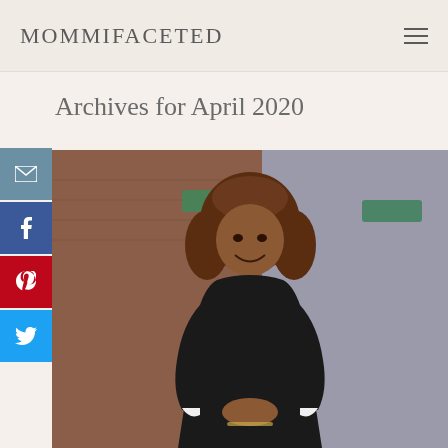MOMMIFACETED
Archives for April 2020
[Figure (photo): A smiling woman with curly brown hair wearing a black dress, standing outdoors in front of a brick building with street signs visible in the background.]